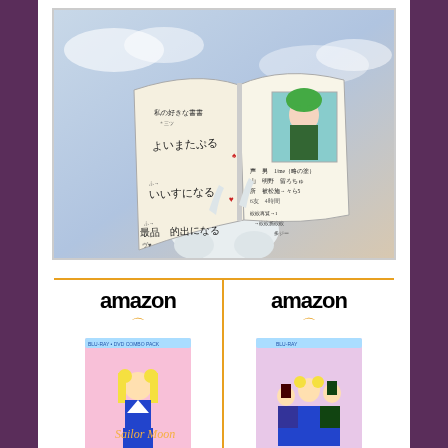[Figure (screenshot): Anime screenshot from Sailor Moon showing a hand holding open a notebook/diary with Japanese text and a character illustration on the right page]
[Figure (infographic): Two Amazon product listings side by side for Sailor Moon Season 1 Part DVD/Blu-ray with anime cover art showing Sailor Moon character]
Sailor Moon Season 1 Part...
Sailor Moon Season 1 Part...